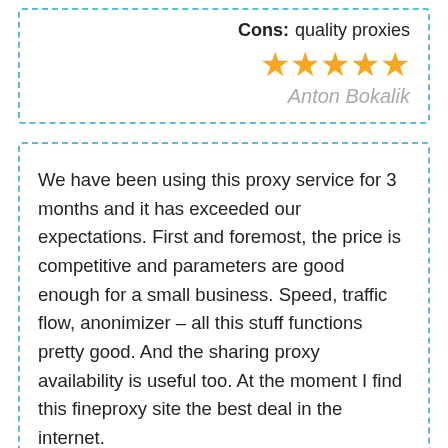Cons: quality proxies
[Figure (other): Five gold stars rating]
Anton Bokalik
We have been using this proxy service for 3 months and it has exceeded our expectations. First and foremost, the price is competitive and parameters are good enough for a small business. Speed, traffic flow, anonimizer – all this stuff functions pretty good. And the sharing proxy availability is useful too. At the moment I find this fineproxy site the best deal in the internet.
5-350 proxy
Pros: Cheap
Cons: Sustainable